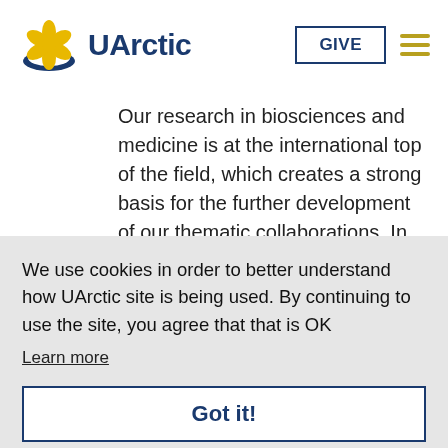[Figure (logo): UArctic logo with yellow flower/sun icon and blue crescent, with bold blue text 'UArctic']
Our research in biosciences and medicine is at the international top of the field, which creates a strong basis for the further development of our thematic collaborations. In the other
We use cookies in order to better understand how UArctic site is being used. By continuing to use the site, you agree that that is OK
Learn more
Got it!